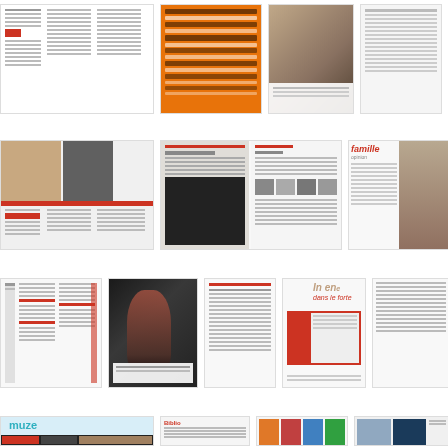[Figure (illustration): Grid of magazine page thumbnails showing various layouts with photos, text columns, orange/red design elements, and a 'muze' magazine cover]
[Figure (illustration): Row 1: Magazine spread thumbnails including text layouts and orange typography poster]
[Figure (illustration): Row 2: Magazine spread thumbnails with portrait photos and red accent columns]
[Figure (illustration): Row 3: Magazine spread thumbnails with dark performer photo and text layouts]
[Figure (illustration): Row 4: Muze magazine cover with beach scene, biblio section, and book review pages]
[Figure (illustration): Row 5: Partial thumbnails at bottom showing magazine pages]